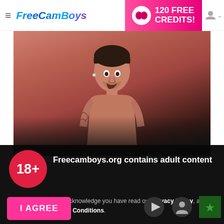FreeCamBoys — 120 FREE CREDITS!
[Figure (photo): Shirtless young man with tattoos looking at camera, reddish blurred background]
[Figure (infographic): 18+ red circle badge]
Freecamboys.org contains adult content
By using the site, you acknowledge you have read our Privacy Policy, and agree to our Terms and Conditions.
We use cookies to optimize your experience, analyze traffic, and deliver more personalized service. To learn more, please see our Privacy Policy.
I AGREE